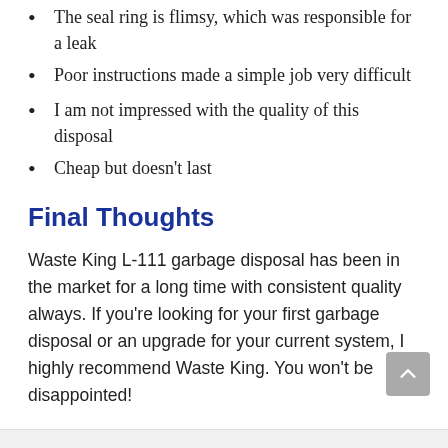The seal ring is flimsy, which was responsible for a leak
Poor instructions made a simple job very difficult
I am not impressed with the quality of this disposal
Cheap but doesn't last
Final Thoughts
Waste King L-111 garbage disposal has been in the market for a long time with consistent quality always. If you're looking for your first garbage disposal or an upgrade for your current system, I highly recommend Waste King. You won't be disappointed!